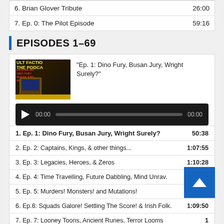| Episode | Duration |
| --- | --- |
| 6. Brian Glover Tribute | 26:00 |
| 7. Ep. 0: The Pilot Episode | 59:16 |
EPISODES 1–69
[Figure (other): Podcast episode thumbnail showing 'ULT FACTION THE PODCAST' text with a retro TV graphic]
“Ep. 1: Dino Fury, Busan Jury, Wright Surely?”
[Figure (other): Audio player with play button, progress bar showing 00:00 / 00:00]
| Episode | Duration |
| --- | --- |
| 1. Ep. 1: Dino Fury, Busan Jury, Wright Surely? | 50:38 |
| 2. Ep. 2: Captains, Kings, & other things... | 1:07:55 |
| 3. Ep. 3: Legacies, Heroes, & Zeros | 1:10:28 |
| 4. Ep. 4: Time Travelling, Future Dabbling, Mind Unrav. | 1:28:50 |
| 5. Ep. 5: Murders! Monsters! and Mutations! | 1:16:30 |
| 6. Ep.6: Squads Galore! Settling The Score! & Irish Folk. | 1:09:50 |
| 7. Ep. 7: Looney Toons, Ancient Runes, Terror Looms | 1… |
| 8. Ep. 8: Revitalised? Bastardised? Or Exorcised? | 1… |
| 9. Ep. 9: Kung Fuing, Simpson's Suing, Trouble Brewing! | 2:22:45 |
| 10. Ep. 10: Devils, Demons, and Dragons | 1:34:12 |